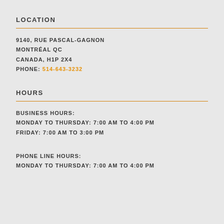LOCATION
9140, RUE PASCAL-GAGNON
MONTRÉAL QC
CANADA, H1P 2X4
PHONE: 514-643-3232
HOURS
BUSINESS HOURS:
MONDAY TO THURSDAY: 7:00 AM TO 4:00 PM
FRIDAY: 7:00 AM TO 3:00 PM
PHONE LINE HOURS:
MONDAY TO THURSDAY: 7:00 AM TO 4:00 PM